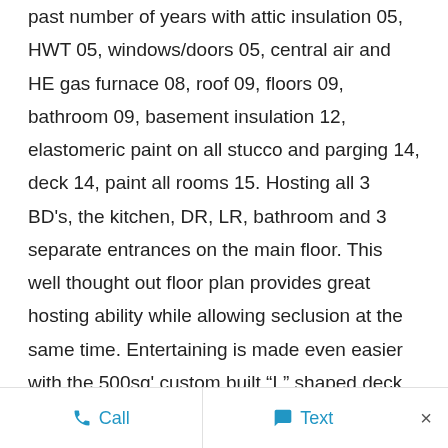past number of years with attic insulation 05, HWT 05, windows/doors 05, central air and HE gas furnace 08, roof 09, floors 09, bathroom 09, basement insulation 12, elastomeric paint on all stucco and parging 14, deck 14, paint all rooms 15. Hosting all 3 BD's, the kitchen, DR, LR, bathroom and 3 separate entrances on the main floor. This well thought out floor plan provides great hosting ability while allowing seclusion at the same time. Entertaining is made even easier with the 500sq' custom built “L” shaped deck which nestles the shape of the house while structurally supported independently. Exiting the
Call   Text   ×